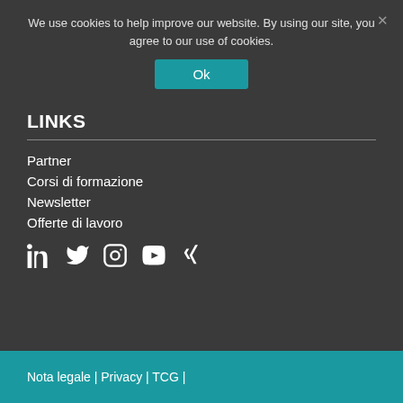We use cookies to help improve our website. By using our site, you agree to our use of cookies.
Ok
LINKS
Partner
Corsi di formazione
Newsletter
Offerte di lavoro
[Figure (infographic): Social media icons: LinkedIn, Twitter, Instagram, YouTube, Xing]
Nota legale | Privacy | TCG |